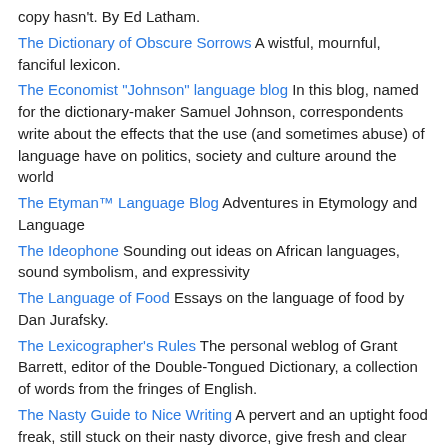copy hasn't. By Ed Latham.
The Dictionary of Obscure Sorrows A wistful, mournful, fanciful lexicon.
The Economist "Johnson" language blog In this blog, named for the dictionary-maker Samuel Johnson, correspondents write about the effects that the use (and sometimes abuse) of language have on politics, society and culture around the world
The Etyman™ Language Blog Adventures in Etymology and Language
The Ideophone Sounding out ideas on African languages, sound symbolism, and expressivity
The Language of Food Essays on the language of food by Dan Jurafsky.
The Lexicographer's Rules The personal weblog of Grant Barrett, editor of the Double-Tongued Dictionary, a collection of words from the fringes of English.
The Nasty Guide to Nice Writing A pervert and an uptight food freak, still stuck on their nasty divorce, give fresh and clear insight on grammar and writing.
The Phrase Finder Origins of phrases, sayings, idioms and expressions.
The Stroppy Editor Minding other people's language. A lot.
The Word Blog A blog about words in their natural habitat.